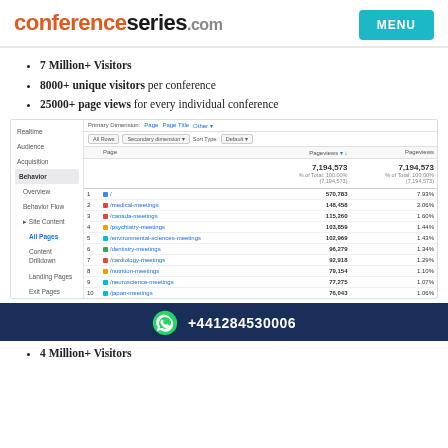conferenceseries.com | MENU
7 Million+ Visitors
8000+ unique visitors per conference
25000+ page views for every individual conference
[Figure (screenshot): Google Analytics screenshot showing site content / All Pages report with pageviews data. Total pageviews: 7,194,573. Top pages listed: 1. / - 570,783 (7.93%), 2. /medical-meetings - 148,458 (2.06%), 3. /canada-meetings - 115,260 (1.60%), 4. /psychiatry-meetings - 103,859 (1.44%), 5. /environmental-sciences-meetings - 102,969 (1.43%), 6. /dentistry-meetings - 96,279 (1.34%), 7. /cardiology-meetings - 92,918 (1.29%), 8. /nutrition-meetings - 79,154 (1.10%), 9. /neuroscience-meetings - 77,275 (1.07%), 10. /japan-meetings - 76,043 (1.06%)]
+441284530006
4 Million+ Visitors